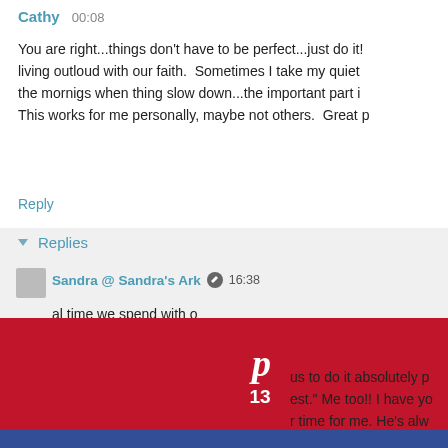Cathy  00:08
You are right...things don't have to be perfect...just do it! living outloud with our faith. Sometimes I take my quiet the mornigs when thing slow down...the important part i This works for me personally, maybe not others. Great p
Reply
▾ Replies
Sandra @ Sandra's Ark  ✏  16:38
al time we spend with o
[Figure (screenshot): Pinterest share button with 'p' icon and count of 13, red background]
[Figure (screenshot): Facebook share button with 'f' icon, dark blue background]
[Figure (screenshot): Twitter share button with bird icon, light blue background]
[Figure (screenshot): Google+ share button with circular icon, green background]
us to do it absolutely p est." Me too!! I have yo r time for me. He's alw